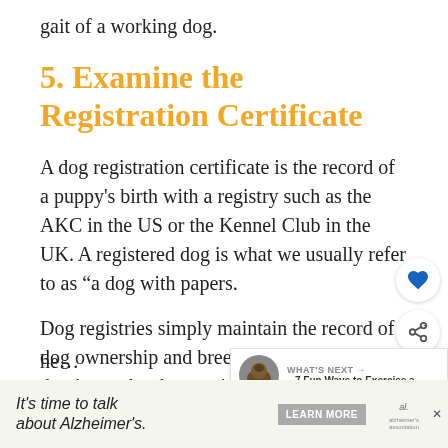gait of a working dog.
5. Examine the Registration Certificate
A dog registration certificate is the record of a puppy's birth with a registry such as the AKC in the US or the Kennel Club in the UK. A registered dog is what we usually refer to as “a dog with papers.
Dog registries simply maintain the record of dog ownership and breeding, whether your dog is purebred or a mixed breed. That could leave you wondering how a dog registration certificate can he...
[Figure (other): Heart/favorite button icon overlay on right side]
[Figure (other): Share button icon overlay on right side]
[Figure (other): What's Next panel showing dog image with text '7 Fun Ways to Exercise a...']
[Figure (other): Advertisement banner: It's time to talk about Alzheimer's. LEARN MORE. Alzheimer's Association logo.]